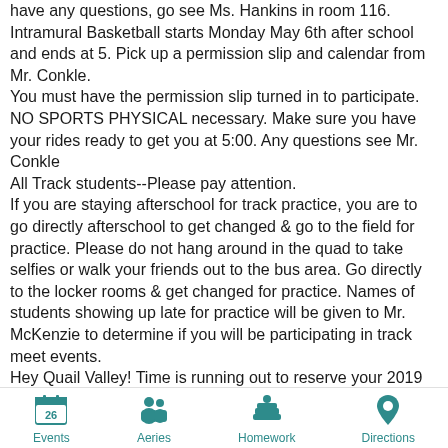have any questions, go see Ms. Hankins in room 116. Intramural Basketball starts Monday May 6th after school and ends at 5. Pick up a permission slip and calendar from Mr. Conkle. You must have the permission slip turned in to participate. NO SPORTS PHYSICAL necessary. Make sure you have your rides ready to get you at 5:00. Any questions see Mr. Conkle All Track students--Please pay attention. If you are staying afterschool for track practice, you are to go directly afterschool to get changed & go to the field for practice. Please do not hang around in the quad to take selfies or walk your friends out to the bus area. Go directly to the locker rooms & get changed for practice. Names of students showing up late for practice will be given to Mr. McKenzie to determine if you will be participating in track meet events. Hey Quail Valley! Time is running out to reserve your 2019 Yearbook at the incredible price of just $40! Our award-winning Yearbook is full color, hard-bound and stars you and your friends! Books are selling fast, so be sure to
[Figure (infographic): Footer navigation bar with four teal icons and labels: Events (calendar showing 26), Aeries (two people silhouette), Homework (books with apple), Directions (location pin)]